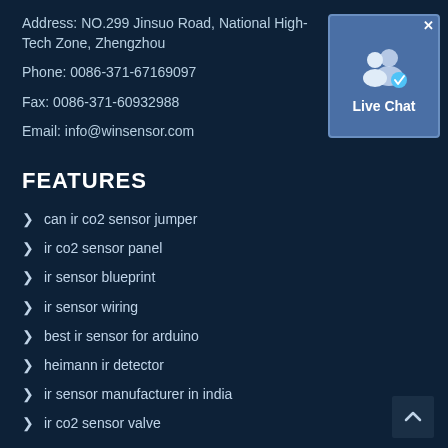Address: NO.299 Jinsuo Road, National High-Tech Zone, Zhengzhou
Phone: 0086-371-67169097
Fax: 0086-371-60932988
Email: info@winsensor.com
[Figure (other): Live Chat widget with two user silhouette icons and a checkmark badge, labeled 'Live Chat' on a blue background with a close (x) button in the top right corner.]
FEATURES
can ir co2 sensor jumper
ir co2 sensor panel
ir sensor blueprint
ir sensor wiring
best ir sensor for arduino
heimann ir detector
ir sensor manufacturer in india
ir co2 sensor valve